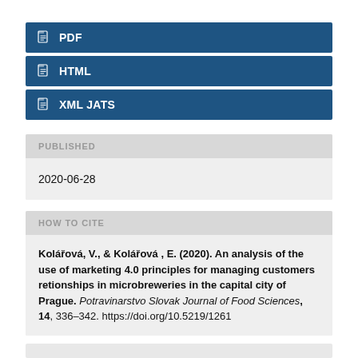PDF
HTML
XML JATS
PUBLISHED
2020-06-28
HOW TO CITE
Kolářová, V., & Kolářová , E. (2020). An analysis of the use of marketing 4.0 principles for managing customers retionships in microbreweries in the capital city of Prague. Potravinarstvo Slovak Journal of Food Sciences, 14, 336–342. https://doi.org/10.5219/1261